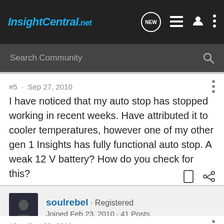InsightCentral.net
Search Community
#5 · Sep 27, 2010
I have noticed that my auto stop has stopped working in recent weeks. Have attributed it to cooler temperatures, however one of my other gen 1 Insights has fully functional auto stop. A weak 12 V battery? How do you check for this?
soulrebel · Registered
Joined Feb 23, 2010 · 41 Posts
#6 · Sep 28, 2010